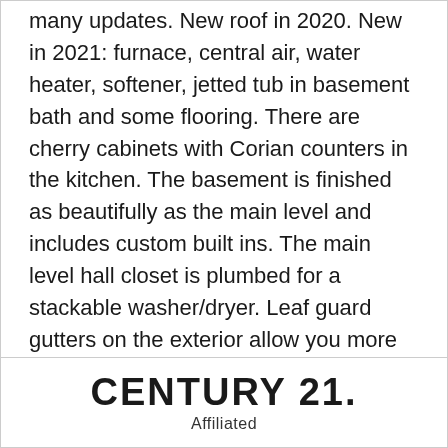many updates. New roof in 2020. New in 2021: furnace, central air, water heater, softener, jetted tub in basement bath and some flooring. There are cherry cabinets with Corian counters in the kitchen. The basement is finished as beautifully as the main level and includes custom built ins. The main level hall closet is plumbed for a stackable washer/dryer. Leaf guard gutters on the exterior allow you more time to relax and enjoy the gorgeous landscaped yard. 2 rooms in lower level could be used as bedrooms with installation of egress. Close to the toll road, shopping and dining.
CENTURY 21. Affiliated